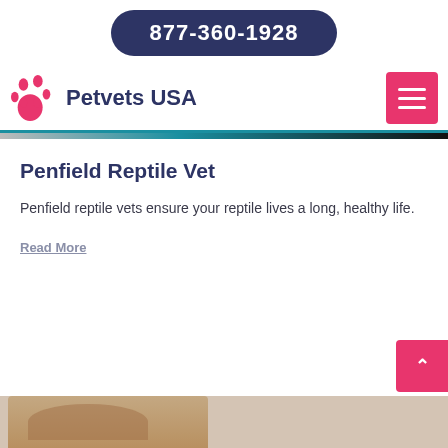877-360-1928
[Figure (logo): Petvets USA logo with pink paw print icon and dark navy text]
Penfield Reptile Vet
Penfield reptile vets ensure your reptile lives a long, healthy life.
Read More
[Figure (photo): Partial photo of a dog at the bottom of the page]